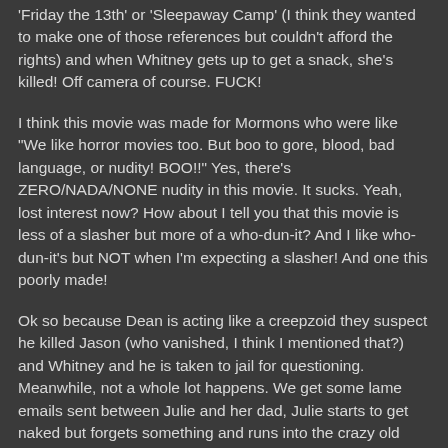'Friday the 13th' or 'Sleepaway Camp' (I think they wanted to make one of those references but couldn't afford the rights) and when Whitney gets up to get a snack, she's killed! Off camera of course. FUCK!
I think this movie was made for Mormons who were like "We like horror movies too. But boo to gore, blood, bad language, or nudity! BOO!!" Yes, there's ZERO/NADA/NONE nudity in this movie. It sucks. Yeah, lost interest now? How about I tell you that this movie is less of a slasher but more of a who-dun-it? And I like who-dun-it's but NOT when I'm expecting a slasher! And one this poorly made!
Ok so because Dean is acting like a creepzoid they suspect he killed Jason (who vanished, I think I mentioned that?) and Whitney and he is taken to jail for questioning. Meanwhile, not a whole lot happens. We get some lame emails sent between Julie and her dad, Julie starts to get naked but forgets something and runs into the crazy old man, who tells her to ask her dad about some guy named Nelson. HA-HA!
Julie asks her dad about Nelson but all her dad can say is